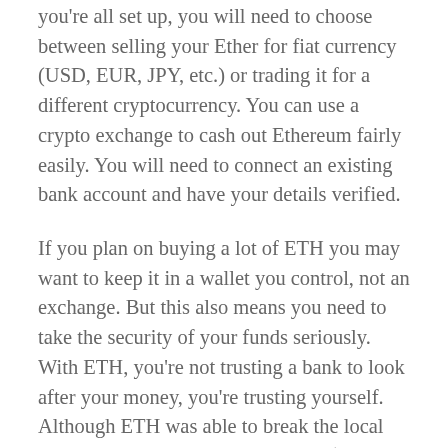you're all set up, you will need to choose between selling your Ether for fiat currency (USD, EUR, JPY, etc.) or trading it for a different cryptocurrency. You can use a crypto exchange to cash out Ethereum fairly easily. You will need to connect an existing bank account and have your details verified.
If you plan on buying a lot of ETH you may want to keep it in a wallet you control, not an exchange. But this also means you need to take the security of your funds seriously. With ETH, you're not trusting a bank to look after your money, you're trusting yourself. Although ETH was able to break the local downtrend and retest the important $3500 level, it has since rolled over and broken below the ascending